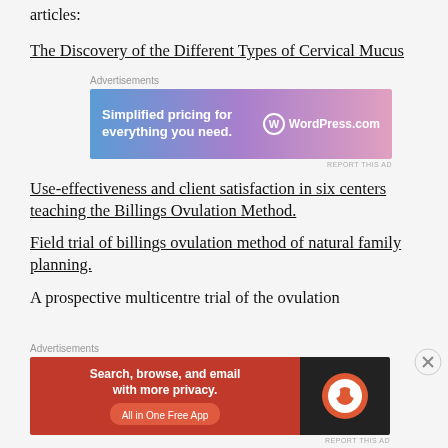articles:
The Discovery of the Different Types of Cervical Mucus
[Figure (screenshot): WordPress.com advertisement banner: 'Simplified pricing for everything you need.' with WordPress.com logo on blue-to-pink gradient background]
Use-effectiveness and client satisfaction in six centers teaching the Billings Ovulation Method.
Field trial of billings ovulation method of natural family planning.
A prospective multicentre trial of the ovulation
[Figure (screenshot): DuckDuckGo advertisement banner: 'Search, browse, and email with more privacy. All in One Free App' on orange and dark background with DuckDuckGo logo]